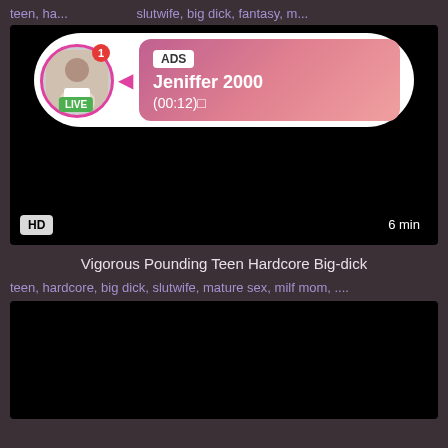teen, ha..., slutwife, big dick, fantasy, m...
[Figure (screenshot): Black video thumbnail with an ad overlay showing a profile avatar with LIVE badge, ADS label, name Jeniffer 2000, time (00:12), HD badge bottom left, 6 min badge bottom right]
Vigorous Pounding Teen Hardcore Big-dick
teen, hardcore, big dick, slutwife, mature sex, milf mom, ....
[Figure (screenshot): Black video thumbnail, second video]